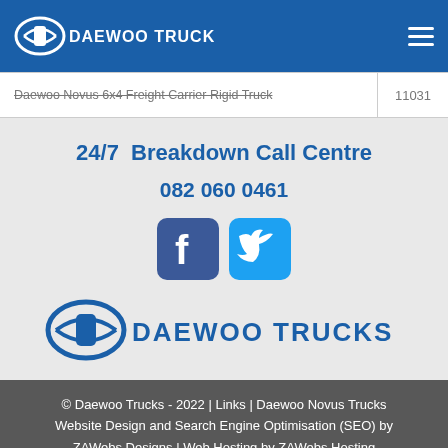DAEWOO TRUCKS
| Daewoo Novus 6x4 Freight Carrier Rigid Truck | 11031 |
24/7 Breakdown Call Centre
082 060 0461
[Figure (logo): Facebook and Twitter social media icons]
[Figure (logo): Daewoo Trucks large logo]
© Daewoo Trucks - 2022 | Links | Daewoo Novus Trucks
Website Design and Search Engine Optimisation (SEO) by ZAWebs Designs | Web Hosting by ZAWebs Hosting